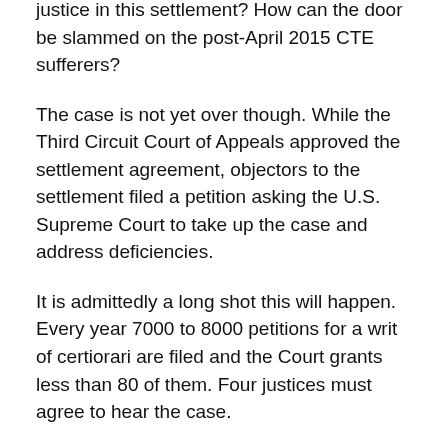justice in this settlement? How can the door be slammed on the post-April 2015 CTE sufferers?
The case is not yet over though. While the Third Circuit Court of Appeals approved the settlement agreement, objectors to the settlement filed a petition asking the U.S. Supreme Court to take up the case and address deficiencies.
It is admittedly a long shot this will happen. Every year 7000 to 8000 petitions for a writ of certiorari are filed and the Court grants less than 80 of them. Four justices must agree to hear the case.
The Court is left in a tough spot. The settlement does significantly help some players who are absolutely deserving. At the same time, so many equally deserving